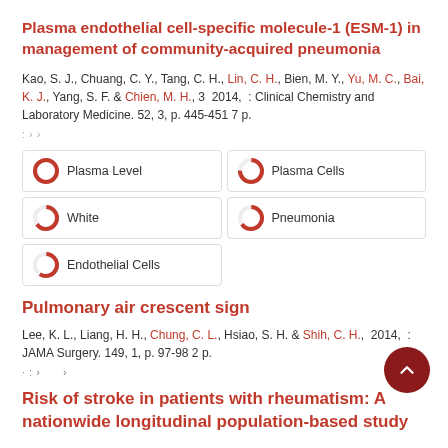Plasma endothelial cell-specific molecule-1 (ESM-1) in management of community-acquired pneumonia
Kao, S. J., Chuang, C. Y., Tang, C. H., Lin, C. H., Bien, M. Y., Yu, M. C., Bai, K. J., Yang, S. F. & Chien, M. H., 3 2014, : Clinical Chemistry and Laboratory Medicine. 52, 3, p. 445-451 7 p.
· · ›
[Figure (infographic): Five keyword boxes in a 2-column grid with donut/pie icons: Plasma Level (100%), Plasma Cells (~75%), White (~65%), Pneumonia (~65%), Endothelial Cells (~60%)]
Pulmonary air crescent sign
Lee, K. L., Liang, H. H., Chung, C. L., Hsiao, S. H. & Shih, C. H., 2014, : JAMA Surgery. 149, 1, p. 97-98 2 p.
· · ›
Risk of stroke in patients with rheumatism: A nationwide longitudinal population-based study